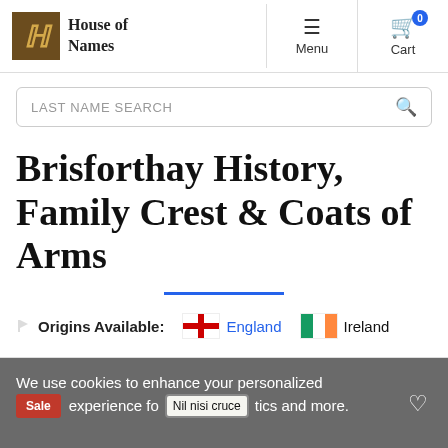House of Names — Menu | Cart
LAST NAME SEARCH
Brisforthay History, Family Crest & Coats of Arms
Origins Available: England Ireland
We use cookies to enhance your personalized experience for genealogics and more.